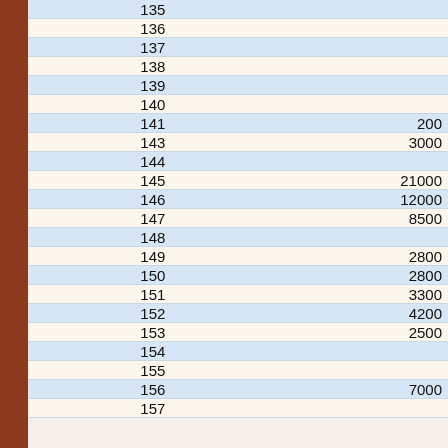|  |  |
| --- | --- |
| 135 |  |
| 136 |  |
| 137 |  |
| 138 |  |
| 139 |  |
| 140 |  |
| 141 | 200 |
| 143 | 3000 |
| 144 |  |
| 145 | 21000 |
| 146 | 12000 |
| 147 | 8500 |
| 148 |  |
| 149 | 2800 |
| 150 | 2800 |
| 151 | 3300 |
| 152 | 4200 |
| 153 | 2500 |
| 154 |  |
| 155 |  |
| 156 | 7000 |
| 157 |  |